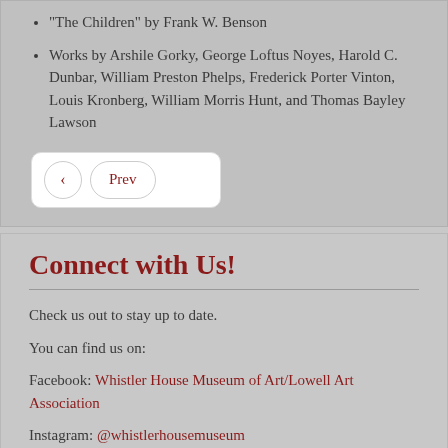“The Children” by Frank W. Benson
Works by Arshile Gorky, George Loftus Noyes, Harold C. Dunbar, William Preston Phelps, Frederick Porter Vinton, Louis Kronberg, William Morris Hunt, and Thomas Bayley Lawson
Connect with Us!
Check us out to stay up to date.
You can find us on:
Facebook: Whistler House Museum of Art/Lowell Art Association
Instagram: @whistlerhousemuseum
Twitter: @WhistlerLowell